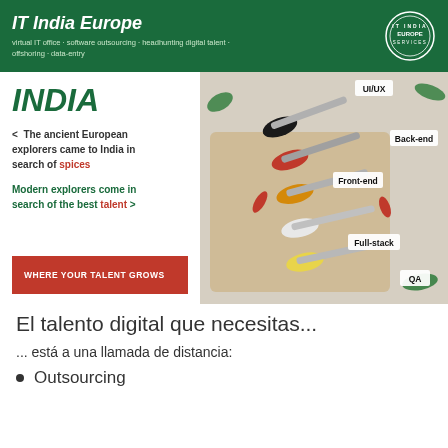IT India Europe
virtual IT office · software outsourcing · headhunting digital talent · offshoring · data-entry
INDIA
< The ancient European explorers came to India in search of spices
Modern explorers come in search of the best talent >
WHERE YOUR TALENT GROWS
[Figure (photo): Photo of various spices in silver spoons with labels: UI/UX, Back-end, Front-end, Full-stack, QA]
El talento digital que necesitas...
... está a una llamada de distancia:
Outsourcing